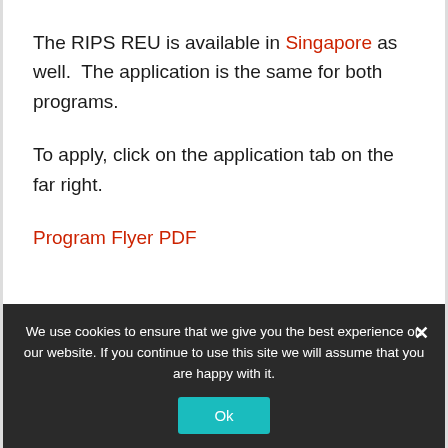The RIPS REU is available in Singapore as well.  The application is the same for both programs.
To apply, click on the application tab on the far right.
Program Flyer PDF
We use cookies to ensure that we give you the best experience on our website. If you continue to use this site we will assume that you are happy with it.